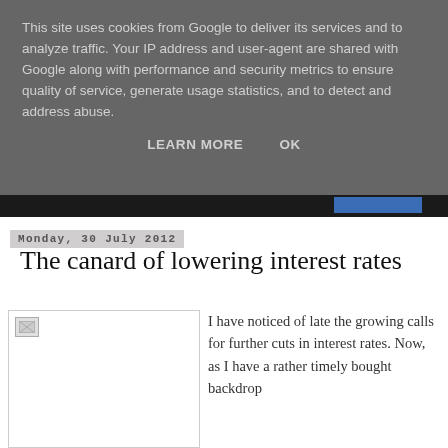This site uses cookies from Google to deliver its services and to analyze traffic. Your IP address and user-agent are shared with Google along with performance and security metrics to ensure quality of service, generate usage statistics, and to detect and address abuse.
LEARN MORE   OK
Monday, 30 July 2012
The canard of lowering interest rates
[Figure (photo): Broken image placeholder in a bordered box]
I have noticed of late the growing calls for further cuts in interest rates. Now, as I have a rather timely bought backdrop...